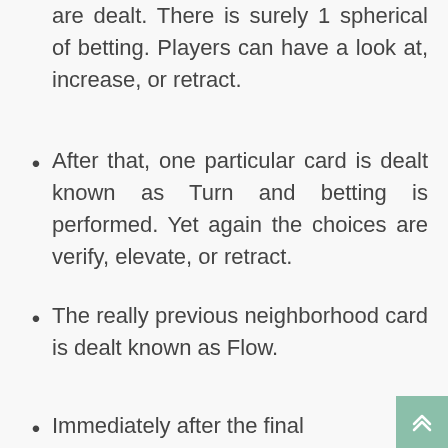are dealt. There is surely 1 spherical of betting. Players can have a look at, increase, or retract.
After that, one particular card is dealt known as Turn and betting is performed. Yet again the choices are verify, elevate, or retract.
The really previous neighborhood card is dealt known as Flow.
Immediately after the final